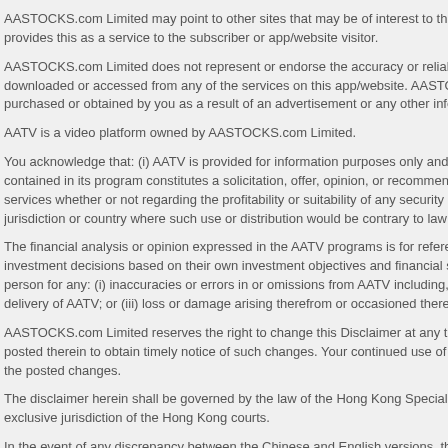AASTOCKS.com Limited may point to other sites that may be of interest to the subscriber. AASTOCKS.com Limited provides this as a service to the subscriber or app/website visitor.
AASTOCKS.com Limited does not represent or endorse the accuracy or reliability of any information or content downloaded or accessed from any of the services on this app/website. AASTOCKS.com Limited is not responsible for goods purchased or obtained by you as a result of an advertisement or any other information on this app/website.
AATV is a video platform owned by AASTOCKS.com Limited.
You acknowledge that: (i) AATV is provided for information purposes only and, in particular, no information or content contained in its program constitutes a solicitation, offer, opinion, or recommendation by AASTOCKS.com Limited or its services whether or not regarding the profitability or suitability of any security or investment; (ii) AATV is not intended for jurisdiction or country where such use or distribution would be contrary to law or regulation.
The financial analysis or opinion expressed in the AATV programs is for reference and education only. Investors make their own investment decisions based on their own investment objectives and financial situation. AASTOCKS.com Limited is not liable to any person for any: (i) inaccuracies or errors in or omissions from AATV including, but not limited to, quotations; (ii) delays or interruptions in delivery of AATV; or (iii) loss or damage arising therefrom or occasioned thereby, or by reason of nonperformance.
AASTOCKS.com Limited reserves the right to change this Disclaimer at any time by updating this posting. You are advised to review postings posted therein to obtain timely notice of such changes. Your continued use of this app/website constitutes your agreement to be bound by the posted changes.
The disclaimer herein shall be governed by the law of the Hong Kong Special Administrative Region and you submit to the exclusive jurisdiction of the Hong Kong courts.
In the event of any discrepancy between the Chinese and English versions, the English version shall prevail.
Last updated on 11 March 2020.